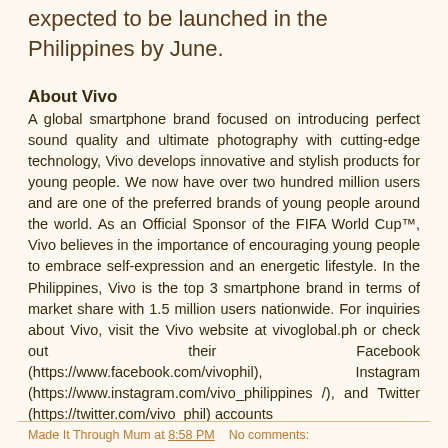expected to be launched in the Philippines by June.
About Vivo
A global smartphone brand focused on introducing perfect sound quality and ultimate photography with cutting-edge technology, Vivo develops innovative and stylish products for young people. We now have over two hundred million users and are one of the preferred brands of young people around the world. As an Official Sponsor of the FIFA World Cup™, Vivo believes in the importance of encouraging young people to embrace self-expression and an energetic lifestyle. In the Philippines, Vivo is the top 3 smartphone brand in terms of market share with 1.5 million users nationwide. For inquiries about Vivo, visit the Vivo website at vivoglobal.ph or check out their Facebook (https://www.facebook.com/vivophil), Instagram (https://www.instagram.com/vivo_philippines /), and Twitter (https://twitter.com/vivo_phil) accounts
Made It Through Mum at 8:58 PM     No comments: